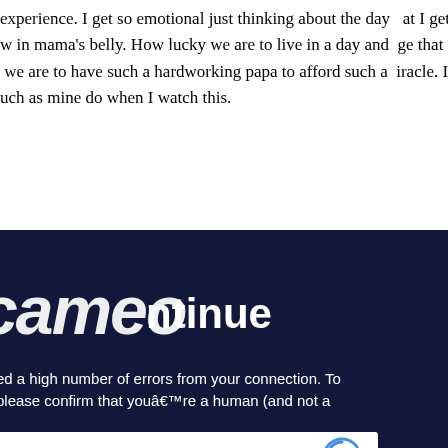experience. I get so emotional just thinking about the day that I get to show our [child] in mama’s belly. How lucky we are to live in a day and age that such medical [technology exists and how lucky] we are to have such a hardworking papa to afford such a miracle. I can’t wait for [hearts] such as mine do when I watch this.
[Figure (screenshot): Cameo website overlay showing CAPTCHA verification screen with dark navy background. Displays partially visible 'cameo' logo in white script overlapping with 'continue' text, error message about high number of errors from connection asking user to confirm they are human and not a robot, and a reCAPTCHA widget with checkbox and reCAPTCHA branding.]
ed a high number of errors from your connection. To please confirm that youâre a human (and not a
ot a robot